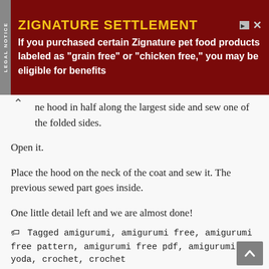[Figure (other): Legal Notice sidebar label on dark grey background reading 'LEGAL NOTICE' vertically]
[Figure (infographic): Advertisement banner: ZIGNATURE SETTLEMENT in yellow on dark red. Text: If you purchased certain Zignature pet food products labeled as "grain free" or "chicken free," you may be eligible for benefits]
he hood in half along the largest side and sew one of the folded sides.
Open it.
Place the hood on the neck of the coat and sew it. The previous sewed part goes inside.
One little detail left and we are almost done!
For this Yoda's hair I've used felting wool, but sometimes I've just glued some stuffing to the head. Cotton balls probably work well, too.
Your Amigurumi Yoda is now finished!
Tagged amigurumi, amigurumi free, amigurumi free pattern, amigurumi free pdf, amigurumi yoda, crochet, crochet